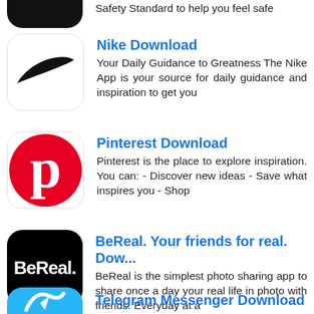Safety Standard to help you feel safe
Nike Download
Your Daily Guidance to Greatness The Nike App is your source for daily guidance and inspiration to get you
Pinterest Download
Pinterest is the place to explore inspiration. You can: - Discover new ideas - Save what inspires you - Shop
BeReal. Your friends for real. Dow...
BeReal is the simplest photo sharing app to share once a day your real life in photo with friends. Everyday at a
Telegram Messenger Download